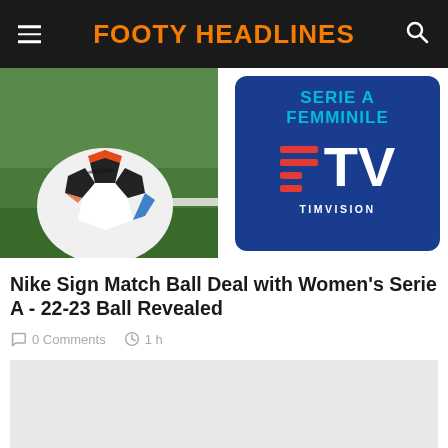FOOTY HEADLINES
[Figure (photo): Nike football/soccer ball on green grass field]
[Figure (logo): Serie A Femminile TV - TIMVISION logo on blue rounded rectangle]
Nike Sign Match Ball Deal with Women's Serie A - 22-23 Ball Revealed
0 Comments  1 h
[Figure (other): Advertisement placeholder - light grey rectangle]